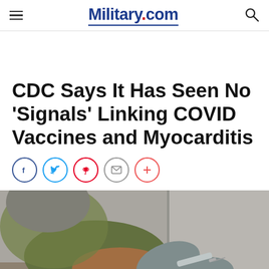Military.com
CDC Says It Has Seen No 'Signals' Linking COVID Vaccines and Myocarditis
[Figure (photo): Close-up photo of a healthcare worker in grey gloves administering a vaccine injection into the arm of a patient wearing an olive/tan shirt.]